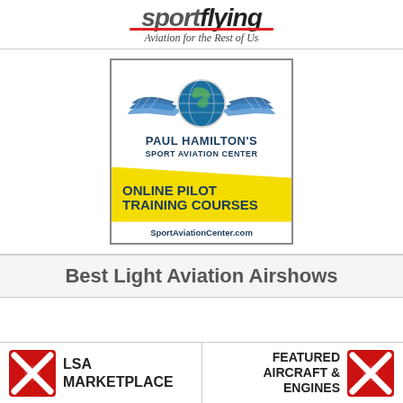SportFlying Aviation for the Rest of Us
[Figure (logo): Paul Hamilton's Sport Aviation Center advertisement with wings logo, globe, text PAUL HAMILTON'S SPORT AVIATION CENTER, ONLINE PILOT TRAINING COURSES, SportAviationCenter.com on yellow background]
Best Light Aviation Airshows
[Figure (infographic): LSA Marketplace logo with red X icon on bottom bar left]
[Figure (infographic): Featured Aircraft & Engines logo with red X icon on bottom bar right]